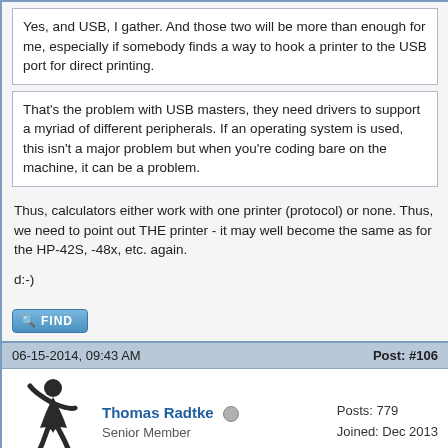Yes, and USB, I gather. And those two will be more than enough for me, especially if somebody finds a way to hook a printer to the USB port for direct printing.
That's the problem with USB masters, they need drivers to support a myriad of different peripherals. If an operating system is used, this isn't a major problem but when you're coding bare on the machine, it can be a problem.
Thus, calculators either work with one printer (protocol) or none. Thus, we need to point out THE printer - it may well become the same as for the HP-42S, -48x, etc. again.

d:-)
06-15-2014, 09:43 AM
Post: #106
Thomas Radtke
Senior Member
Posts: 779
Joined: Dec 2013
RE: 43s status